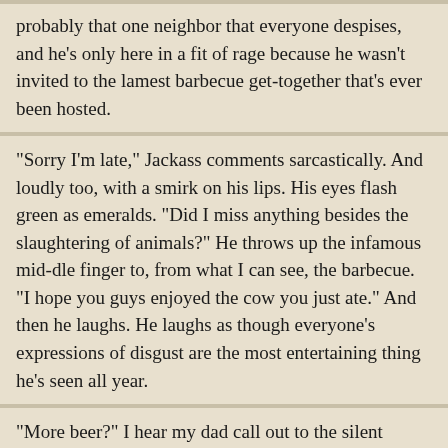probably that one neighbor that everyone despises, and he’s only here in a fit of rage because he wasn’t invited to the lamest barbecue get-together that’s ever been hosted.
“Sorry I’m late,” Jackass comments sarcastically. And loudly too, with a smirk on his lips. His eyes flash green as emeralds. “Did I miss anything besides the slaughtering of animals?” He throws up the infamous mid-dle finger to, from what I can see, the barbecue. “I hope you guys enjoyed the cow you just ate.” And then he laughs. He laughs as though everyone’s expressions of disgust are the most entertaining thing he’s seen all year.
“More beer?” I hear my dad call out to the silent crowd, and as they chuckle and return to their conversations, Jackass heads through the patio doors. He slams them shut so hard I can almost see the glass tremble.
I’m stunned. I have no idea what just happened or who that was or why he’s just entered the house. When I realize I’m slightly slack-jawed, I close my mouth and turn to Rachael.
She bites her lip and pushes her sunglasses down over her eyes.